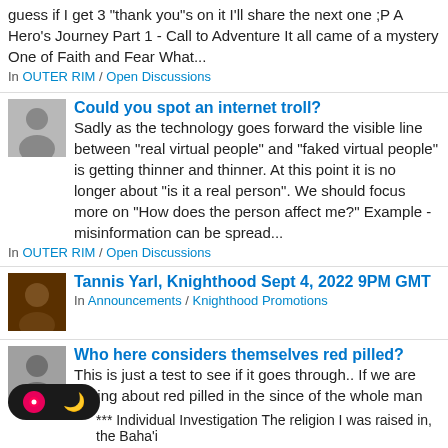guess if I get 3 “thank you”s on it I’ll share the next one ;P A Hero’s Journey Part 1 - Call to Adventure It all came of a mystery One of Faith and Fear What...
In OUTER RIM / Open Discussions
Could you spot an internet troll?
Sadly as the technology goes forward the visible line between "real virtual people" and "faked virtual people" is getting thinner and thinner. At this point it is no longer about "is it a real person". We should focus more on "How does the person affect me?" Example - misinformation can be spread...
In OUTER RIM / Open Discussions
Tannis Yarl, Knighthood Sept 4, 2022 9PM GMT
In Announcements / Knighthood Promotions
Who here considers themselves red pilled?
This is just a test to see if it goes through.. If we are talking about red pilled in the since of the whole man vs woman thing; then that in itself is just perspective and understanding. I don't see myself as red pilled anymore because during my studies here its "being in that state of mind of...
In OUTER RIM / Open Discussions
River's offerings
The clergy of the Temple Of The Jedi Order has my permission to use this sermon as they see fit, at any time.
*** Individual Investigation The religion I was raised in, the Baha’i